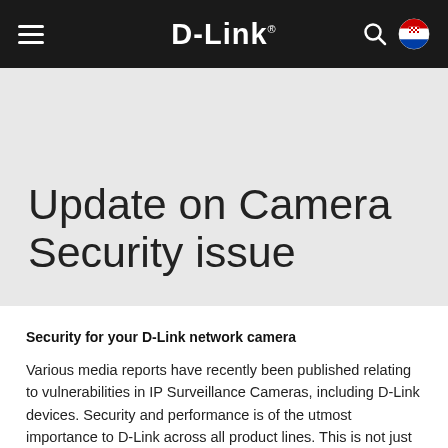D-Link
Update on Camera Security issue
Security for your D-Link network camera
Various media reports have recently been published relating to vulnerabilities in IP Surveillance Cameras, including D-Link devices. Security and performance is of the utmost importance to D-Link across all product lines. This is not just through the development